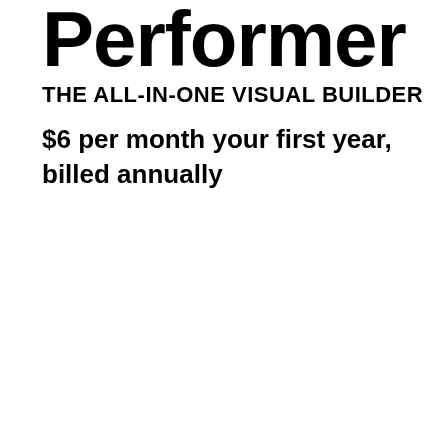Performer
THE ALL-IN-ONE VISUAL BUILDER
$6 per month your first year, billed annually